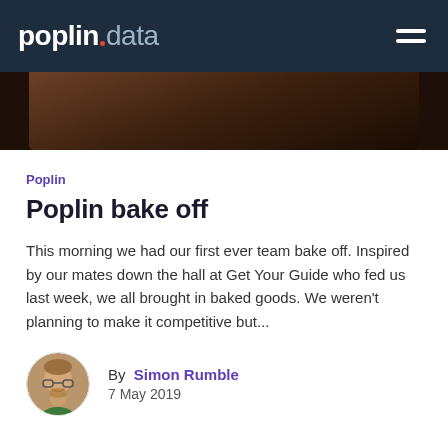poplin data
[Figure (photo): Dark brown baked goods or food item, cropped hero image at top of article]
Poplin
Poplin bake off
This morning we had our first ever team bake off. Inspired by our mates down the hall at Get Your Guide who fed us last week, we all brought in baked goods. We weren't planning to make it competitive but...
By Simon Rumble
7 May 2019